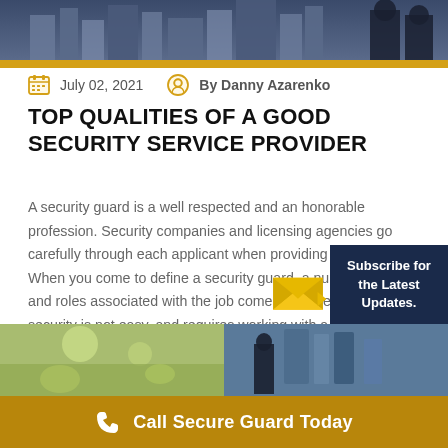[Figure (photo): Hero image showing security guards and city buildings, dark blue toned with gold/yellow banner at bottom]
July 02, 2021   By Danny Azarenko
TOP QUALITIES OF A GOOD SECURITY SERVICE PROVIDER
A security guard is a well respected and an honorable profession. Security companies and licensing agencies go carefully through each applicant when providing authorization. When you come to define a security guard, a number of tasks and roles associated with the job come forth. Hence, providing security is not easy, and requires working with a
[Figure (infographic): Subscribe for the Latest Updates box with yellow envelope icon and dark navy background]
[Figure (photo): Two photos side by side at bottom of article - left shows outdoor/nature scene, right shows person in business/security context]
Call Secure Guard Today